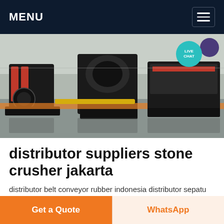MENU
[Figure (photo): Industrial stone crusher machines in a factory setting — three large black and red crusher units on a reflective concrete floor inside a warehouse. A teal 'LIVE CHAT' badge with a purple speech bubble is overlaid in the top right corner.]
distributor suppliers stone crusher jakarta
distributor belt conveyor rubber indonesia distributor sepatu safety crusher bg100 belt grinder distributor
Get a Quote
WhatsApp